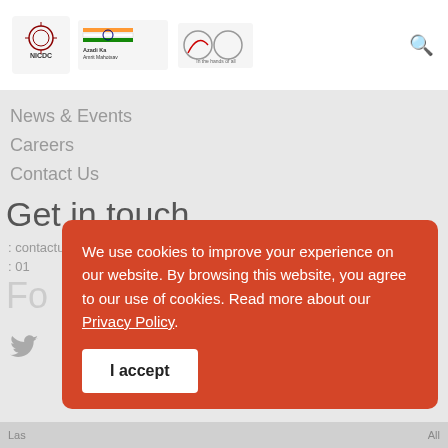[Figure (logo): NICDC logo and government logos in website header]
News & Events
Careers
Contact Us
Get in touch
contactus@nicdc.in
01...
Fo...
We use cookies to improve your experience on our website. By browsing this website, you agree to our use of cookies. Read more about our Privacy Policy.
I accept